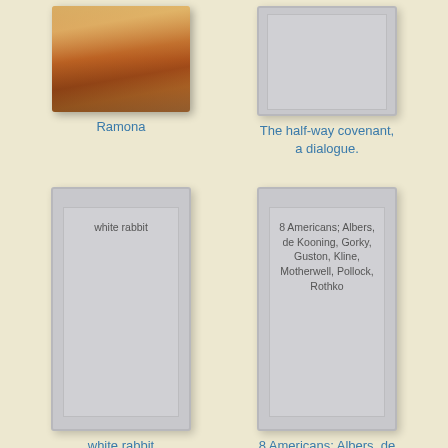[Figure (illustration): Book cover for Ramona showing a woman in orange/red dress in a dramatic outdoor scene]
Ramona
[Figure (illustration): Book cover placeholder (gray) for The half-way covenant, a dialogue.]
The half-way covenant, a dialogue.
[Figure (illustration): Book cover placeholder (gray) with text 'white rabbit']
white rabbit
[Figure (illustration): Book cover placeholder (gray) with text '8 Americans; Albers, de Kooning, Gorky, Guston, Kline, Motherwell, Pollock, Rothko']
8 Americans; Albers, de Kooning, Gorky, Guston, Kline, Motherwell, Pollock, Rothko